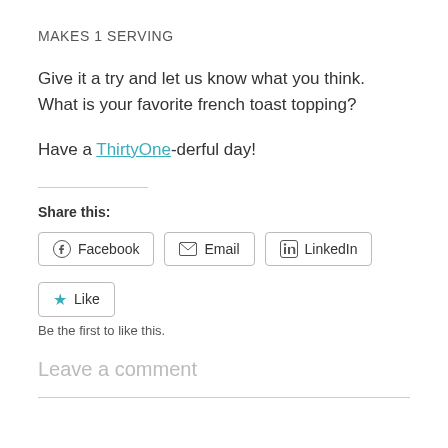MAKES 1 SERVING
Give it a try and let us know what you think.  What is your favorite french toast topping?
Have a ThirtyOne-derful day!
Share this:
[Figure (other): Social share buttons: Facebook, Email, LinkedIn]
[Figure (other): Like button with star icon]
Be the first to like this.
Leave a comment